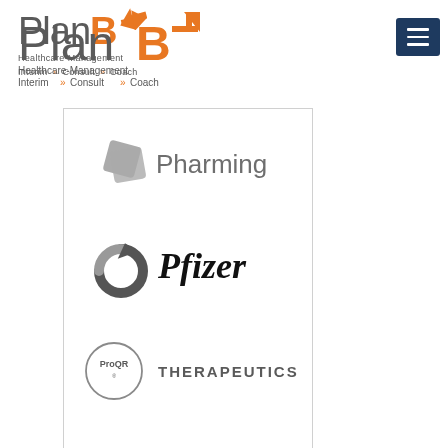[Figure (logo): PlanB Healthcare-Management logo with orange B and arrow, subtitle: Interim • Consult • Coach]
[Figure (logo): Navigation menu button (hamburger icon) dark blue]
[Figure (logo): Pharming company logo in grey]
[Figure (logo): Pfizer company logo in grey/black italic]
[Figure (logo): ProQR Therapeutics company logo with circle emblem]
[Figure (logo): Partial fourth logo cell (empty/cut off)]